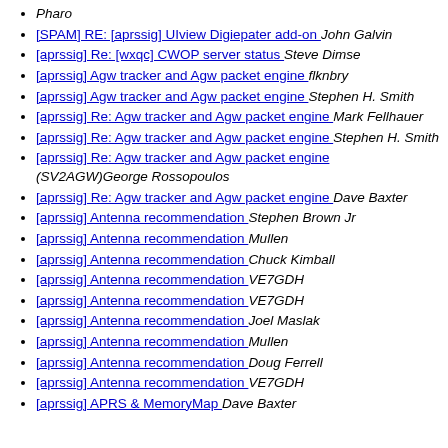Pharo
[SPAM] RE: [aprssig] UIview Digiepater add-on  John Galvin
[aprssig] Re: [wxqc] CWOP server status  Steve Dimse
[aprssig] Agw tracker and Agw packet engine  flknbry
[aprssig] Agw tracker and Agw packet engine  Stephen H. Smith
[aprssig] Re: Agw tracker and Agw packet engine  Mark Fellhauer
[aprssig] Re: Agw tracker and Agw packet engine  Stephen H. Smith
[aprssig] Re: Agw tracker and Agw packet engine  (SV2AGW)George Rossopoulos
[aprssig] Re: Agw tracker and Agw packet engine  Dave Baxter
[aprssig] Antenna recommendation  Stephen Brown Jr
[aprssig] Antenna recommendation  Mullen
[aprssig] Antenna recommendation  Chuck Kimball
[aprssig] Antenna recommendation  VE7GDH
[aprssig] Antenna recommendation  VE7GDH
[aprssig] Antenna recommendation  Joel Maslak
[aprssig] Antenna recommendation  Mullen
[aprssig] Antenna recommendation  Doug Ferrell
[aprssig] Antenna recommendation  VE7GDH
[aprssig] APRS & MemoryMap  Dave Baxter